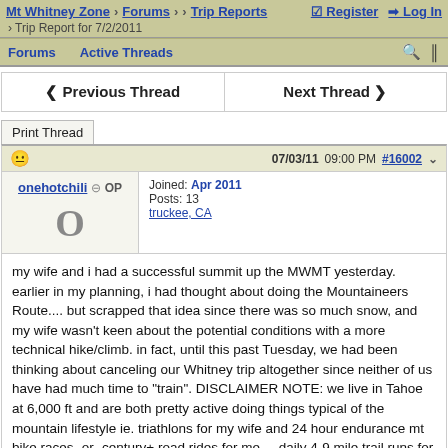Mt Whitney Zone > Forums > > Trip Reports   Register   Log In > Trip Report for 7/2/2011
Forums   Active Threads
◄ Previous Thread   Next Thread ►
Print Thread
07/03/11 09:00 PM  #16002
onehotchili  OP  Joined: Apr 2011  Posts: 13  truckee, CA
my wife and i had a successful summit up the MWMT yesterday. earlier in my planning, i had thought about doing the Mountaineers Route.... but scrapped that idea since there was so much snow, and my wife wasn't keen about the potential conditions with a more technical hike/climb. in fact, until this past Tuesday, we had been thinking about canceling our Whitney trip altogether since neither of us have had much time to "train". DISCLAIMER NOTE: we live in Tahoe at 6,000 ft and are both pretty active doing things typical of the mountain lifestyle ie. triathlons for my wife and 24 hour endurance mt bike races -or- century+ road rides for me.... daily 4-9 mile trail runs for both of us etc. in any case, we had a great trip and were totally psyched to pull this trip off with minimal training... or as we like to joke... "off the couch"!